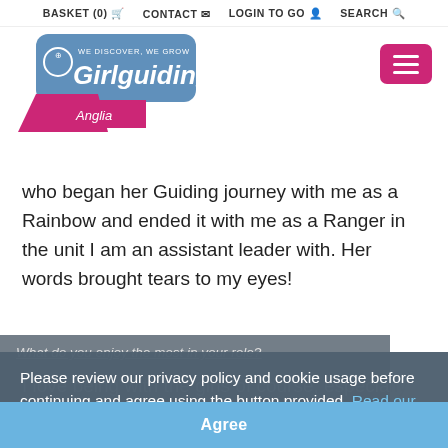BASKET (0)  CONTACT  LOGIN TO GO  SEARCH
[Figure (logo): Girlguiding Anglia logo with blue rounded rectangle, Girlguiding italic text, WE DISCOVER WE GROW tagline, and pink Anglia tab below]
who began her Guiding journey with me as a Rainbow and ended it with me as a Ranger in the unit I am an assistant leader with. Her words brought tears to my eyes!
What do you enjoy the most in your role?
Please review our privacy policy and cookie usage before continuing and agree using the button provided. Read our policy now
I love being with the girls of course, especially the Rainbows who despite being noisy and unruly at times, always cheer me up. But I also love being at my 'Country' home of Hautbois either training or being a participant, or